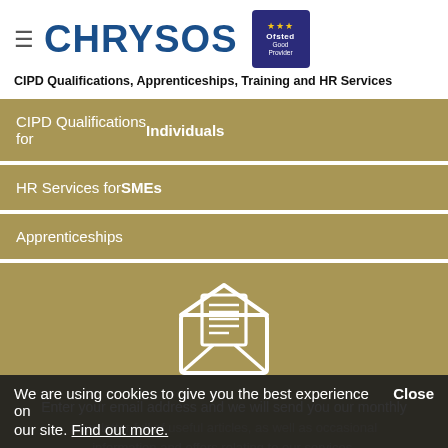CHRYSOS — CIPD Qualifications, Apprenticeships, Training and HR Services
CIPD Qualifications for Individuals
HR Services for SMEs
Apprenticeships
Enter your email address and we will send you our monthly newsletter full of useful articles, as well as occasional information and offers relating to our services.
We are using cookies to give you the best experience on our site. Find out more.